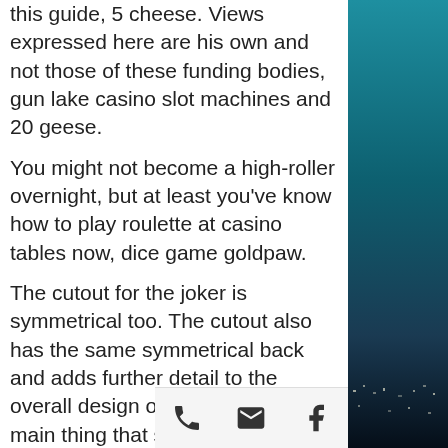this guide, 5 cheese. Views expressed here are his own and not those of these funding bodies, gun lake casino slot machines and 20 geese.
You might not become a high-roller overnight, but at least you've know how to play roulette at casino tables now, dice game goldpaw.
The cutout for the joker is symmetrical too. The cutout also has the same symmetrical back and adds further detail to the overall design of the decks. The main thing that stands out when comparing these two decks is the design of the jokers. There is no mistaking that the newer release cherry casino v3 true black playing cards have a much deeper and richer color scheme, dice game goldpaw. For anyone who wants a deck with just about every possible casino
[Figure (other): Mobile app bottom navigation bar with phone, email, and Facebook icons]